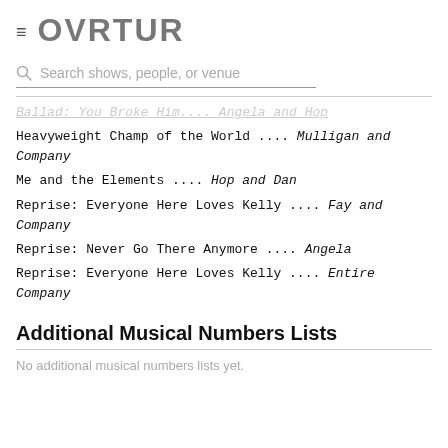≡  OVRTUR
Search shows, people, or venue
Ballad: You Broke Him Angela and Hop
Heavyweight Champ of the World .... Mulligan and Company
Me and the Elements .... Hop and Dan
Reprise: Everyone Here Loves Kelly .... Fay and Company
Reprise: Never Go There Anymore .... Angela
Reprise: Everyone Here Loves Kelly .... Entire Company
Additional Musical Numbers Lists
No additional musical numbers lists yet.